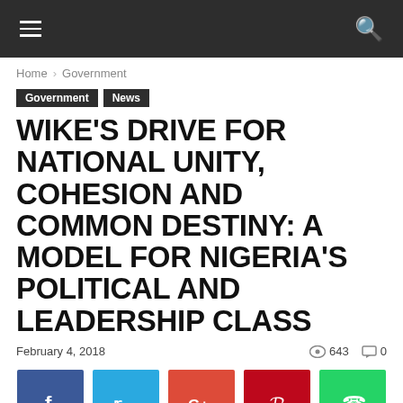Navigation bar with hamburger menu and search icon
Home › Government
Government
News
WIKE'S DRIVE FOR NATIONAL UNITY, COHESION AND COMMON DESTINY: A MODEL FOR NIGERIA'S POLITICAL AND LEADERSHIP CLASS
February 4, 2018   643   0
[Figure (infographic): Social share buttons: Facebook (blue), Twitter (cyan), Google+ (red-orange), Pinterest (dark red), WhatsApp (green)]